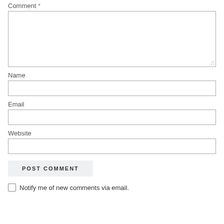Comment *
Name
Email
Website
POST COMMENT
Notify me of new comments via email.